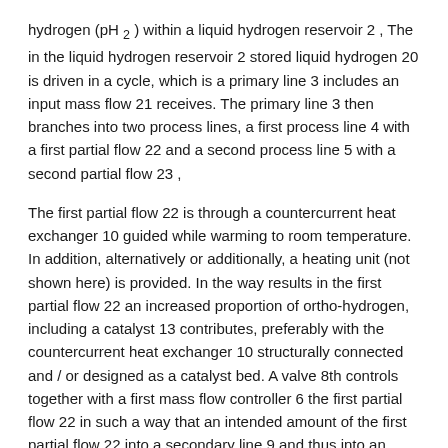hydrogen (pH 2) within a liquid hydrogen reservoir 2, The in the liquid hydrogen reservoir 2 stored liquid hydrogen 20 is driven in a cycle, which is a primary line 3 includes an input mass flow 21 receives. The primary line 3 then branches into two process lines, a first process line 4 with a first partial flow 22 and a second process line 5 with a second partial flow 23,
The first partial flow 22 is through a countercurrent heat exchanger 10 guided while warming to room temperature. In addition, alternatively or additionally, a heating unit (not shown here) is provided. In the way results in the first partial flow 22 an increased proportion of ortho-hydrogen, including a catalyst 13 contributes, preferably with the countercurrent heat exchanger 10 structurally connected and / or designed as a catalyst bed. A valve 8th controls together with a first mass flow controller 6 the first partial flow 22 in such a way that an intended amount of the first partial flow 22 into a secondary line 9 and thus into an output mass flow 24 empties. The mass flow is so great that, taking into account the mass flow of the ortho-hydrogen, the desired mixture composition is established.